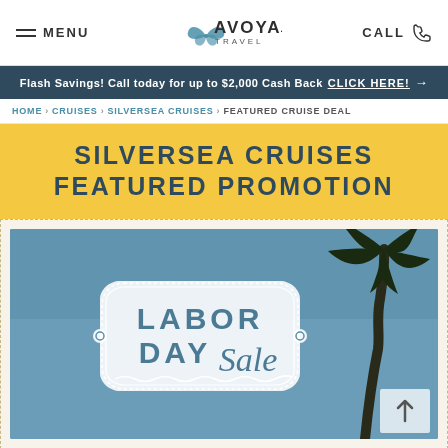≡ MENU  AVOYA TRAVEL  CALL
Flash Savings! Call today for up to $2,000 Cash Back  CLICK HERE! →
HOME > CRUISES > SILVERSEA CRUISES > FEATURED CRUISE DEAL
SILVERSEA CRUISES FEATURED PROMOTION
[Figure (illustration): Labor Day Sale promotional banner with decorative badge on a blue background with palm tree silhouette on the right side. Badge reads LABOR DAY Sale in teal/blue lettering.]